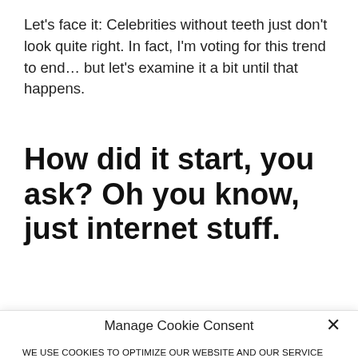Let's face it: Celebrities without teeth just don't look quite right. In fact, I'm voting for this trend to end… but let's examine it a bit until that happens.
How did it start, you ask? Oh you know, just internet stuff.
Manage Cookie Consent
×
WE USE COOKIES TO OPTIMIZE OUR WEBSITE AND OUR SERVICE
Accept
Cookie Policy